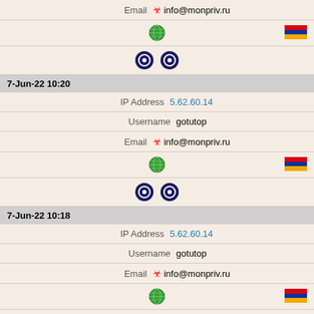Email  info@monpriv.ru
[Figure (other): Globe icon (green) and Armenian flag icon]
[Figure (other): Two Tor browser icons]
7-Jun-22 10:20
IP Address  5.62.60.14
Username  gotutop
Email  info@monpriv.ru
[Figure (other): Globe icon (green) and Armenian flag icon]
[Figure (other): Two Tor browser icons]
7-Jun-22 10:18
IP Address  5.62.60.14
Username  gotutop
Email  info@monpriv.ru
[Figure (other): Globe icon (green) and Armenian flag icon]
[Figure (other): Two Tor browser icons]
7-Jun-22 10:16
IP Address  5.62.60.14